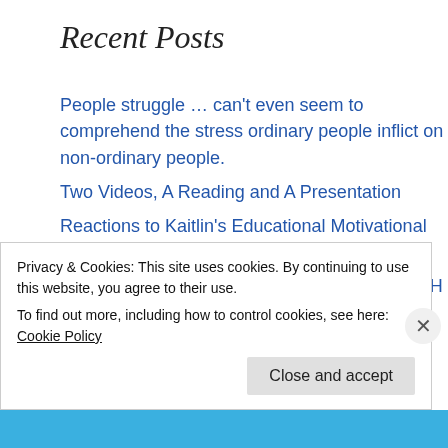Recent Posts
People struggle … can't even seem to comprehend the stress ordinary people inflict on non-ordinary people.
Two Videos, A Reading and A Presentation
Reactions to Kaitlin's Educational Motivational Talks
A QUOTE from a RECENT OFFER to PUBLISH the CORE BOOK
Peace-Yielding Truth
Archives
Privacy & Cookies: This site uses cookies. By continuing to use this website, you agree to their use.
To find out more, including how to control cookies, see here: Cookie Policy